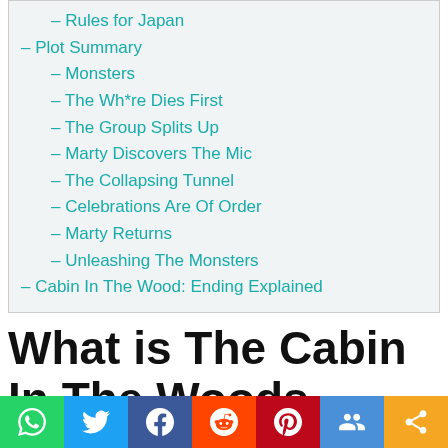– Rules for Japan
– Plot Summary
– Monsters
– The Wh*re Dies First
– The Group Splits Up
– Marty Discovers The Mic
– The Collapsing Tunnel
– Celebrations Are Of Order
– Marty Returns
– Unleashing The Monsters
– Cabin In The Wood: Ending Explained
What is The Cabin In The Woods About?